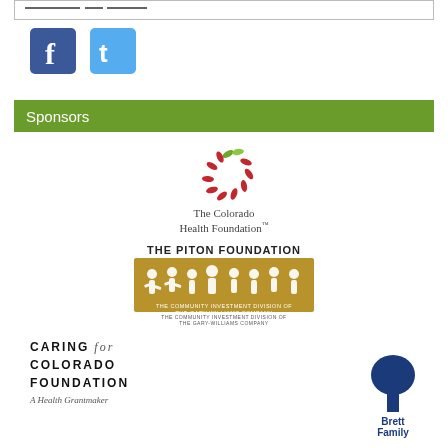[Figure (logo): Top bar with partial text/line element]
[Figure (logo): Facebook logo (blue square with white F)]
[Figure (logo): Twitter logo (light blue square with white bird/t)]
Sponsors
[Figure (logo): The Colorado Health Foundation logo with red/green swirl and text]
[Figure (logo): The Piton Foundation logo - gold/tan banner with people silhouettes, The Community Investment Division of the Gary-Williams Company]
[Figure (logo): Caring for Colorado Foundation - A Health Grantmaker logo]
[Figure (logo): Brett Family (partial logo, blue tree/figure)]